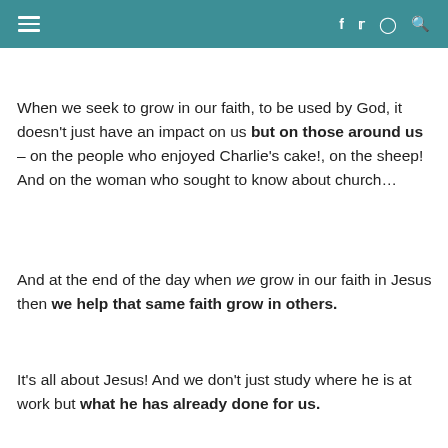☰  f  𝕏  ⬡  🔍
When we seek to grow in our faith, to be used by God, it doesn't just have an impact on us but on those around us – on the people who enjoyed Charlie's cake!, on the sheep! And on the woman who sought to know about church…
And at the end of the day when we grow in our faith in Jesus then we help that same faith grow in others.
It's all about Jesus! And we don't just study where he is at work but what he has already done for us.